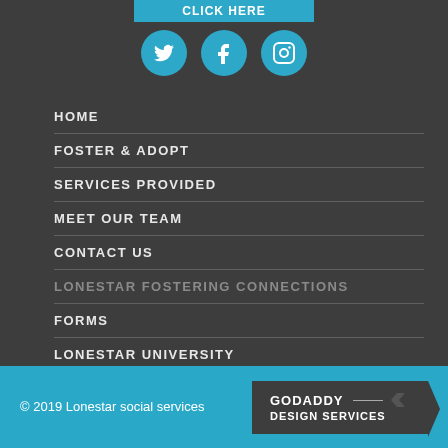[Figure (other): Cyan/teal button with text 'Click Here' at top]
[Figure (other): Three circular social media icons: Twitter, Facebook, Instagram, in teal/cyan color]
HOME
FOSTER & ADOPT
SERVICES PROVIDED
MEET OUR TEAM
CONTACT US
LONESTAR FOSTERING CONNECTIONS
FORMS
LONESTAR UNIVERSITY
TRAINING SCHEDULE
MEDICATION LOG
© 2019 Lonestar social services
[Figure (logo): GoDaddy Design Services logo badge in dark background with arrow shape]